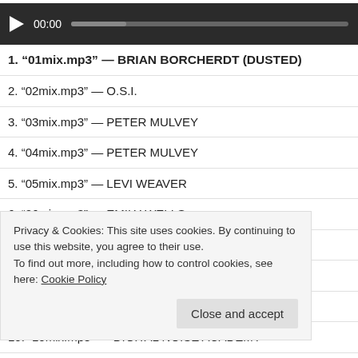[Figure (screenshot): Audio player bar with play button, 00:00 time display, and progress bar on dark background]
1. “01mix.mp3” — BRIAN BORCHERDT (DUSTED)
2. “02mix.mp3” — O.S.I.
3. “03mix.mp3” — PETER MULVEY
4. “04mix.mp3” — PETER MULVEY
5. “05mix.mp3” — LEVI WEAVER
6. “06mix.mp3” — EMILY WELLS
7. “07mix.mp3” — KIM TAYLOR
8. “08mix.mp3” — EMILY WELLS
9. “09mix.mp3” — SUFJAN STEVENS
10. “10mix.mp3” — DIGITAL NOISE ACADEMY
11. “11mix.mp3” — AIMEE MANN
Privacy & Cookies: This site uses cookies. By continuing to use this website, you agree to their use.
To find out more, including how to control cookies, see here: Cookie Policy
Close and accept